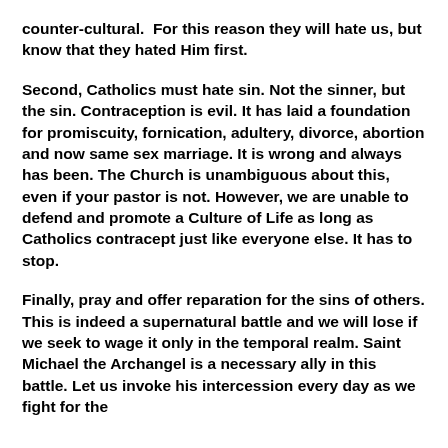counter-cultural.  For this reason they will hate us, but know that they hated Him first.
Second, Catholics must hate sin. Not the sinner, but the sin. Contraception is evil. It has laid a foundation for promiscuity, fornication, adultery, divorce, abortion and now same sex marriage. It is wrong and always has been. The Church is unambiguous about this, even if your pastor is not. However, we are unable to defend and promote a Culture of Life as long as Catholics contracept just like everyone else. It has to stop.
Finally, pray and offer reparation for the sins of others. This is indeed a supernatural battle and we will lose if we seek to wage it only in the temporal realm. Saint Michael the Archangel is a necessary ally in this battle. Let us invoke his intercession every day as we fight for the